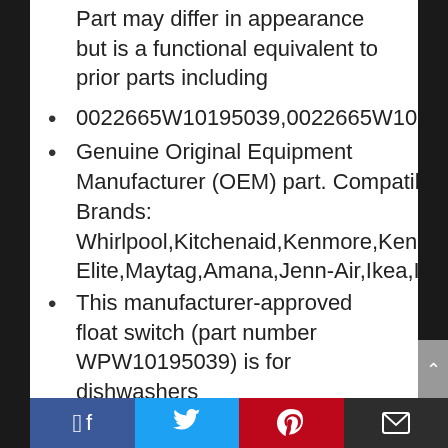Part may differ in appearance but is a functional equivalent to prior parts including
0022665W10195039,0022665W10734532
Genuine Original Equipment Manufacturer (OEM) part. Compatible Brands: Whirlpool,Kitchenaid,Kenmore,Kenmore Elite,Maytag,Amana,Jenn-Air,Ikea,Inglis
This manufacturer-approved float switch (part number WPW10195039) is for dishwashers
Shut off the house circuit breaker